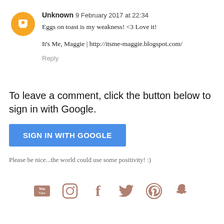Unknown 9 February 2017 at 22:34
Eggs on toast is my weakness! <3 Love it!
It's Me, Maggie | http://itsme-maggie.blogspot.com/
Reply
To leave a comment, click the button below to sign in with Google.
SIGN IN WITH GOOGLE
Please be nice...the world could use some positivity! :)
[Figure (other): Social media icons row: YouTube, Instagram, Facebook, Twitter, Pinterest, Snapchat]